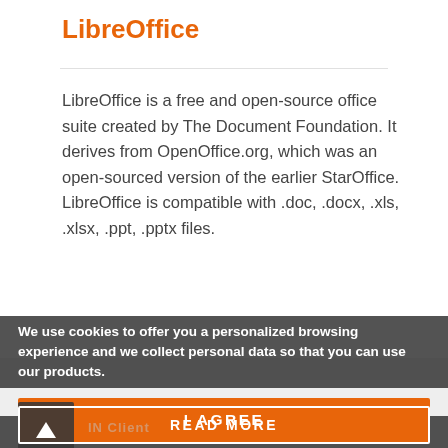LibreOffice
LibreOffice is a free and open-source office suite created by The Document Foundation. It derives from OpenOffice.org, which was an open-sourced version of the earlier StarOffice. LibreOffice is compatible with .doc, .docx, .xls, .xlsx, .ppt, .pptx files.
We use cookies to offer you a personalized browsing experience and we collect personal data so that you can use our products.
SEE PLUGIN
I AGREE
READ MORE
IN Client